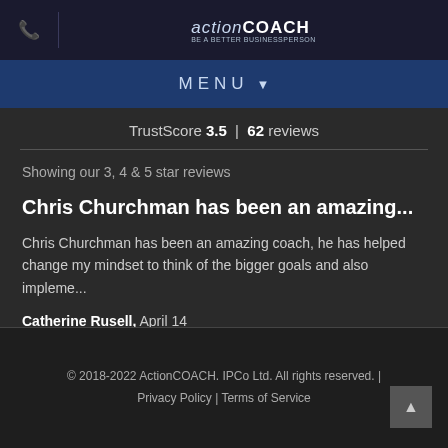ActionCOACH
MENU
TrustScore 3.5 | 62 reviews
Showing our 3, 4 & 5 star reviews
Chris Churchman has been an amazing...
Chris Churchman has been an amazing coach, he has helped change my mindset to think of the bigger goals and also impleme...
Catherine Rusell, April 14
© 2018-2022 ActionCOACH. IPCo Ltd. All rights reserved. | Privacy Policy | Terms of Service